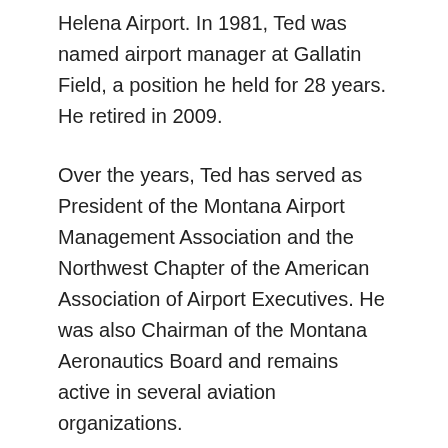Helena Airport. In 1981, Ted was named airport manager at Gallatin Field, a position he held for 28 years. He retired in 2009.
Over the years, Ted has served as President of the Montana Airport Management Association and the Northwest Chapter of the American Association of Airport Executives. He was also Chairman of the Montana Aeronautics Board and remains active in several aviation organizations.
Ted is married to the former Connie Jensen and has one son, Gavin. Ted and Connie live near Belgrade.